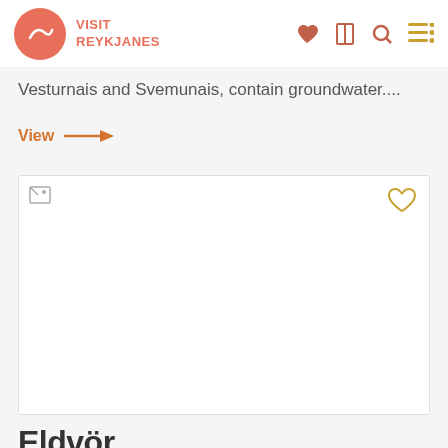VISIT REYKJANES
Vesturnais and Svemunais, contain groundwater....
View →
[Figure (photo): Large image card with broken image icon at top-left and heart outline icon at top-right, white background]
Eldvör...